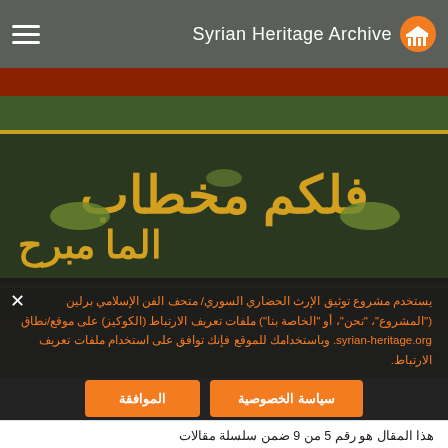Syrian Heritage Archive
[Figure (photo): Illuminated Arabic calligraphy manuscript panel with gold lettering on dark green background, ornate floral border in orange and green]
تقاليد
يستخدم مشروع توثيق الإرث الحضاري السوري/ متحف الفن الإسلامي برلين ("المشروع"، "نحن"، أو "الخاصة بنا") ملفات تعريف الارتباط (الكوكيز) على موقع/نطاق syrian-heritage.org. وباستخدامك للموقع فإنك توافق على استخدام ملفات تعريف الارتباط.
سياسة الخصوصية
الموافقة
هذا المقال هو رقم 5 من 9 ضمن سلسلة مقالات